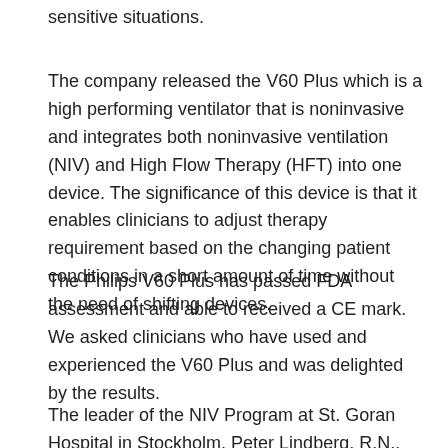sensitive situations.
The company released the V60 Plus which is a high performing ventilator that is noninvasive and integrates both noninvasive ventilation (NIV) and High Flow Therapy (HFT) into one device. The significance of this device is that it enables clinicians to adjust therapy requirement based on the changing patient conditions in a short amount of time without the need of shifting devices.
The Philips V60 Plus has passed FDA assessment and able to received a CE mark. We asked clinicians who have used and experienced the V60 Plus and was delighted by the results.
The leader of the NIV Program at St. Goran Hospital in Stockholm, Peter Lindberg, R.N., discussed the difference